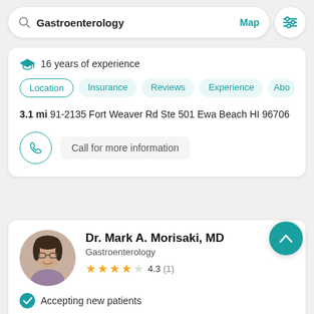Gastroenterology
Map
16 years of experience
Location
Insurance
Reviews
Experience
Abo
3.1 mi 91-2135 Fort Weaver Rd Ste 501 Ewa Beach HI 96706
Call for more information
[Figure (photo): Portrait photo of Dr. Mark A. Morisaki, MD]
Dr. Mark A. Morisaki, MD
Gastroenterology
4.3 (1)
Accepting new patients